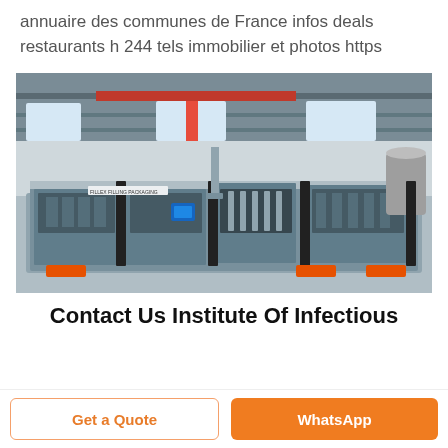annuaire des communes de France infos deals restaurants h 244 tels immobilier et photos https
[Figure (photo): Industrial filling/packaging machine inside a large factory building with metal roof structure and red overhead crane.]
Contact Us Institute Of Infectious
Get a Quote
WhatsApp